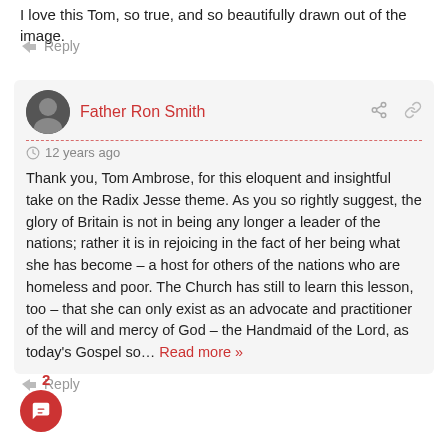I love this Tom, so true, and so beautifully drawn out of the image.
Reply
Father Ron Smith
12 years ago
Thank you, Tom Ambrose, for this eloquent and insightful take on the Radix Jesse theme. As you so rightly suggest, the glory of Britain is not in being any longer a leader of the nations; rather it is in rejoicing in the fact of her being what she has become – a host for others of the nations who are homeless and poor. The Church has still to learn this lesson, too – that she can only exist as an advocate and practitioner of the will and mercy of God – the Handmaid of the Lord, as today's Gospel so... Read more »
Reply